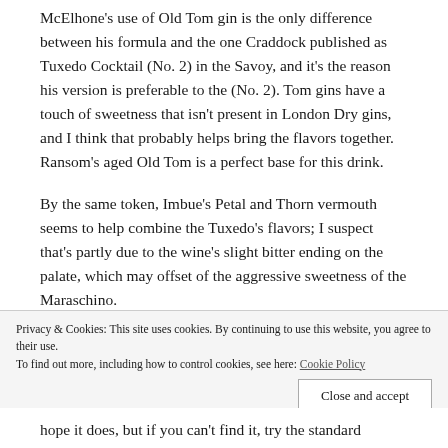McElhone's use of Old Tom gin is the only difference between his formula and the one Craddock published as Tuxedo Cocktail (No. 2) in the Savoy, and it's the reason his version is preferable to the (No. 2). Tom gins have a touch of sweetness that isn't present in London Dry gins, and I think that probably helps bring the flavors together. Ransom's aged Old Tom is a perfect base for this drink.
By the same token, Imbue's Petal and Thorn vermouth seems to help combine the Tuxedo's flavors; I suspect that's partly due to the wine's slight bitter ending on the palate, which may offset of the aggressive sweetness of the Maraschino.
Privacy & Cookies: This site uses cookies. By continuing to use this website, you agree to their use. To find out more, including how to control cookies, see here: Cookie Policy
hope it does, but if you can't find it, try the standard